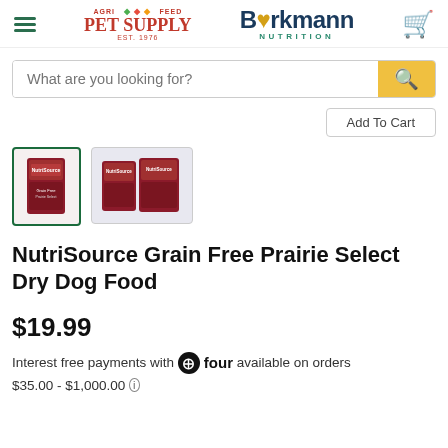Agri Pet Supply | Burkmann Nutrition — website header with logos and cart icon
What are you looking for? [search bar]
[Figure (photo): Two product thumbnail images of NutriSource Grain Free Prairie Select Dry Dog Food bags. The first is selected (green border), showing a single bag. The second shows two bags side by side.]
NutriSource Grain Free Prairie Select Dry Dog Food
$19.99
Interest free payments with ⊕ four available on orders $35.00 - $1,000.00 ℹ